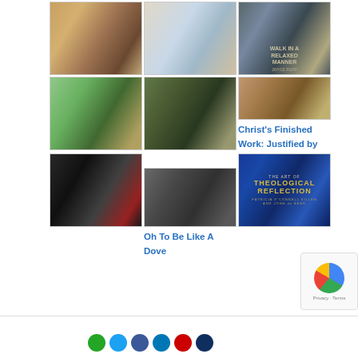[Figure (photo): Hallway/corridor interior photo]
[Figure (photo): Hospital or simple room with bed and window]
[Figure (photo): Book: Walk in a Relaxed Manner by Joyce Rupp]
[Figure (photo): Cactus in a round pot with pebbles]
[Figure (photo): Folding bicycle outdoors]
[Figure (photo): Gavel on wooden surface]
Christ's Finished Work: Justified by Faith
[Figure (photo): Folding bicycle with luggage]
[Figure (photo): Doorway or architectural exterior]
Oh To Be Like A Dove
[Figure (photo): Book: The Art of Theological Reflection]